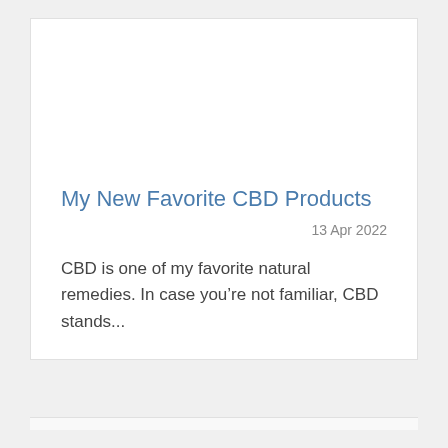My New Favorite CBD Products
13 Apr 2022
CBD is one of my favorite natural remedies. In case you’re not familiar, CBD stands…